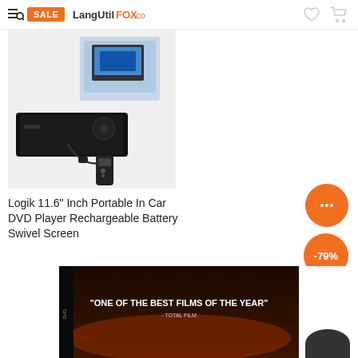SALE | LangUtilFOX.com
[Figure (photo): Logik portable DVD player with box, remote control, and accessories on white background]
Logik 11.6" Inch Portable In Car DVD Player Rechargeable Battery Swivel Screen
£62.39  £160.00
ADD TO CART
[Figure (photo): DVD case partially visible showing text: ONE OF THE BEST FILMS OF THE YEAR - Total Film]
-79%